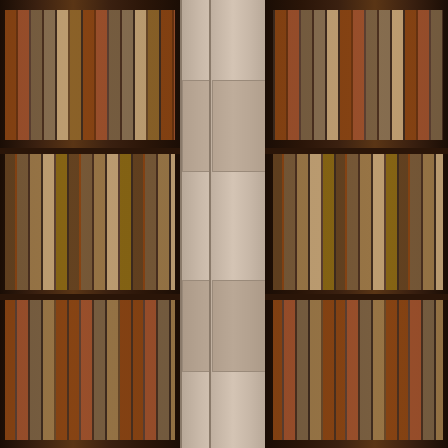[Figure (photo): Background of wooden bookshelves filled with old leather-bound books, flanking a stone column on each side, with a white text panel in the center.]
bottle exploded, he advised instead burying the bottle and when this was done, his wife recovered. Furthermore later on it was discovered that a man of the town had died mysteriously and his wife confessed that her